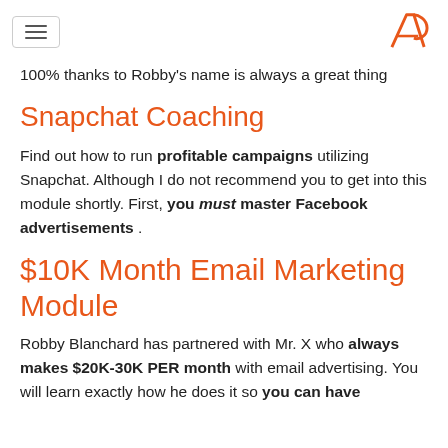[hamburger menu] [logo]
100% thanks to Robby’s name is always a great thing
Snapchat Coaching
Find out how to run profitable campaigns utilizing Snapchat. Although I do not recommend you to get into this module shortly. First, you must master Facebook advertisements .
$10K Month Email Marketing Module
Robby Blanchard has partnered with Mr. X who always makes $20K-30K PER month with email advertising. You will learn exactly how he does it so you can have